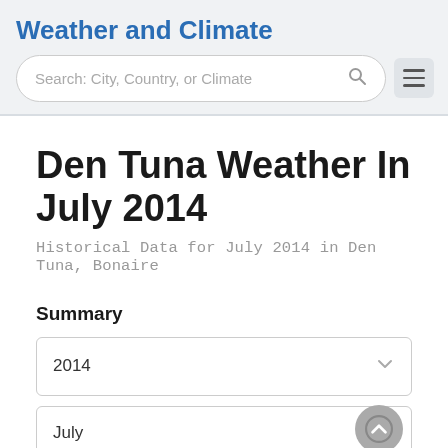Weather and Climate
Search: City, Country, or Climate
Den Tuna Weather In July 2014
Historical Data for July 2014 in Den Tuna, Bonaire
Summary
2014
July